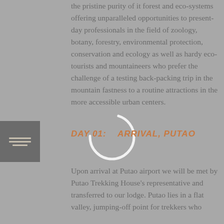the pristine purity of it forest and eco-systems offering unparalleled opportunities to present-day professionals in the field of zoology, botany, forestry, environmental protection, conservation and ecology as well as hardy eco-tourists and mountaineers who prefer the challenge of a testing back-packing trip in the mountain fastness to a routine attractions in the more accessible urban centers.
[Figure (other): Small icon box with horizontal lines representing a list or menu icon]
[Figure (other): Loading spinner overlay circle in grey/white]
DAY 01:    ARRIVAL, PUTAO
Upon arrival at Putao airport we will be met by Putao Trekking House's representative and transferred to our lodge. Putao lies in a flat valley, jumping-off point for trekkers who